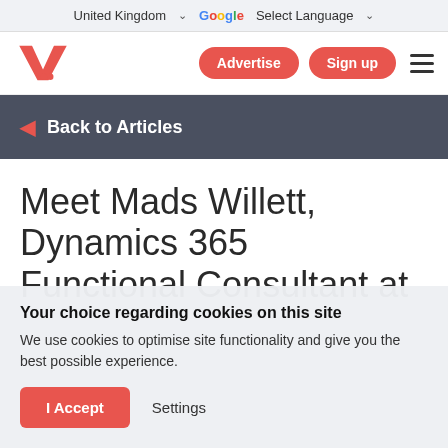United Kingdom  ▾  Google Select Language  ▾
[Figure (logo): VJ logo in red with stylized V and double quote marks]
Advertise   Sign up   ☰
◄ Back to Articles
Meet Mads Willett, Dynamics 365 Functional Consultant at
Your choice regarding cookies on this site
We use cookies to optimise site functionality and give you the best possible experience.
I Accept   Settings